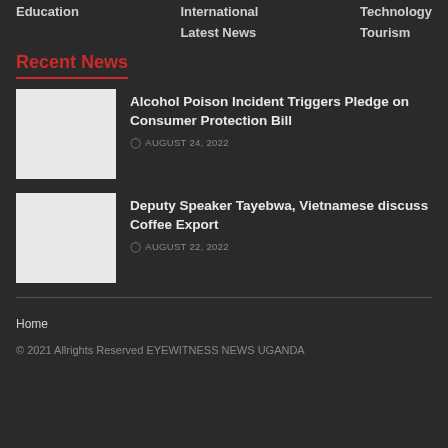Education | International | Latest News | Technology | Tourism
Recent News
Alcohol Poison Incident Triggers Pledge on Consumer Protection Bill
AUGUST 24, 2022
Deputy Speaker Tayebwa, Vietnamese discuss Coffee Export
AUGUST 22, 2022
Home
© 2021 Allrights Reserved EYEWITNESS NEWS UGANDA